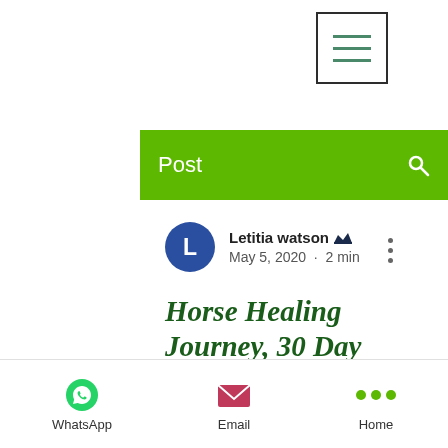[Figure (screenshot): Hamburger menu icon — three horizontal lines inside a bordered box, top-right corner]
Post
Letitia watson 👑
May 5, 2020 · 2 min
Horse Healing Journey, 30 Day Experience. 8 Simple Suggestions to connect with Horse!
Updated: Oct 13, 2020
WhatsApp   Email   Home